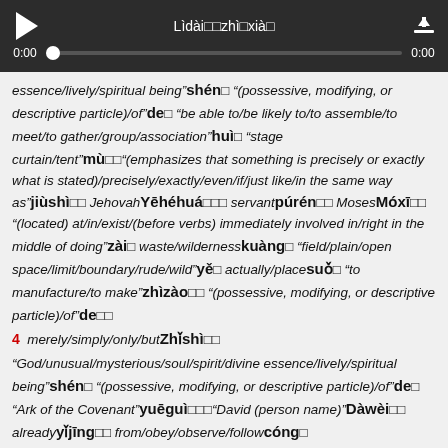[Figure (other): Audio player bar with play button, title 'Lìdài□□zhì□xià□', progress bar showing 0:00 on both sides, and download button]
essence/lively/spiritual being"shén□ "(possessive, modifying, or descriptive particle)/of"de□ "be able to/be likely to/to assemble/to meet/to gather/group/association"huì□ "stage curtain/tent"mù□□"(emphasizes that something is precisely or exactly what is stated)/precisely/exactly/even/if/just like/in the same way as"jiùshì□□ JehovahYēhéhuá□□□ servantpúrén□□ MosesMóxī□□ "(located) at/in/exist/(before verbs) immediately involved in/right in the middle of doing"zài□ waste/wildernesskuàng□ "field/plain/open space/limit/boundary/rude/wild"yě□ actually/placesuǒ□ "to manufacture/to make"zhìzào□□ "(possessive, modifying, or descriptive particle)/of"de□□
4 merely/simply/only/butZhǐshì□□
"God/unusual/mysterious/soul/spirit/divine essence/lively/spiritual being"shén□ "(possessive, modifying, or descriptive particle)/of"de□ "Ark of the Covenant"yuēguì□□□"David (person name)"Dàwèi□□ alreadyyǐjīng□□ from/obey/observe/followcóng□ "base/foundation/basic/radical (chem.)"jī□ "to arrange/to line